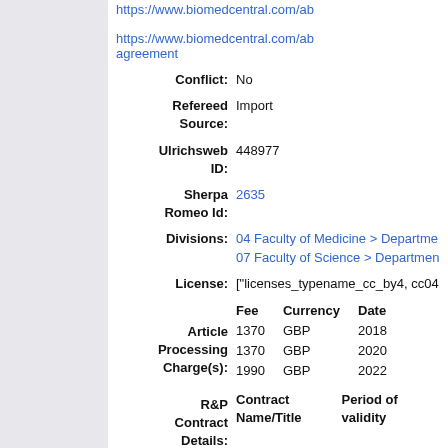https://www.biomedcentral.com/ab
https://www.biomedcentral.com/ab agreement
Conflict: No
Refereed Source: Import
Ulrichsweb ID: 448977
Sherpa Romeo Id: 2635
Divisions: 04 Faculty of Medicine > Departme 07 Faculty of Science > Departmen
License: ["licenses_typename_cc_by4, cc04
| Fee | Currency | Date |
| --- | --- | --- |
| 1370 | GBP | 2018 |
| 1370 | GBP | 2020 |
| 1990 | GBP | 2022 |
| Contract Name/Title | Period of validity |
| --- | --- |
Date Deposited: 22 Oct 2012 16:09